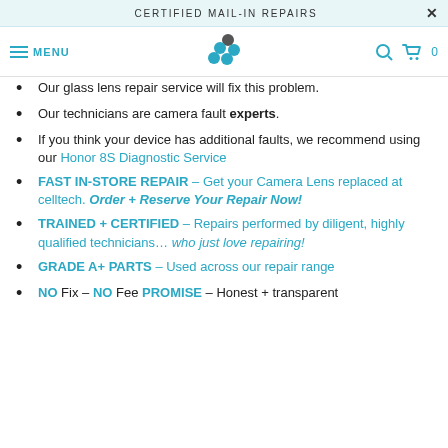CERTIFIED MAIL-IN REPAIRS
Our glass lens repair service will fix this problem.
Our technicians are camera fault experts.
If you think your device has additional faults, we recommend using our Honor 8S Diagnostic Service
FAST IN-STORE REPAIR – Get your Camera Lens replaced at celltech. Order + Reserve Your Repair Now!
TRAINED + CERTIFIED – Repairs performed by diligent, highly qualified technicians… who just love repairing!
GRADE A+ PARTS – Used across our repair range
NO Fix – NO Fee PROMISE – Honest + transparent